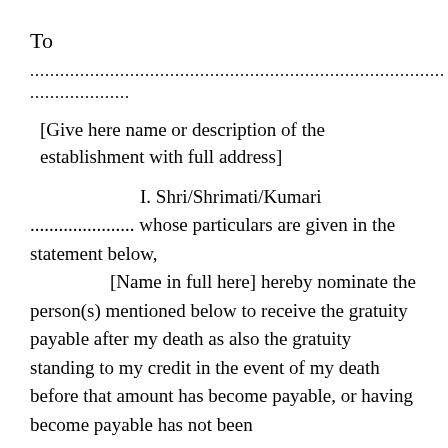To
.....................................................................................
....................
[Give here name or description of the establishment with full address]
I. Shri/Shrimati/Kumari ..................... whose particulars are given in the statement below,
[Name in full here]
hereby nominate the person(s) mentioned below to receive the gratuity payable after my death as also the gratuity standing to my credit in the event of my death before that amount has become payable, or having become payable has not been paid and declare that the particulars of person(s)